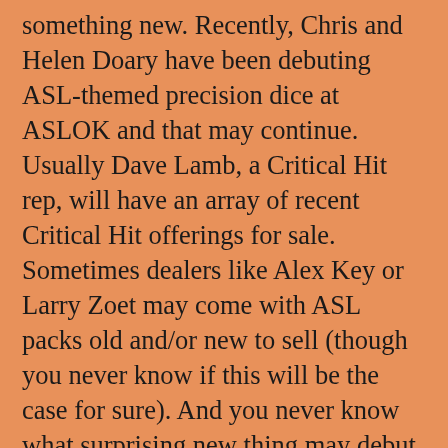something new.  Recently, Chris and Helen Doary have been debuting ASL-themed precision dice at ASLOK and that may continue.  Usually Dave Lamb, a Critical Hit rep, will have an array of recent Critical Hit offerings for sale.  Sometimes dealers like Alex Key or Larry Zoet may come with ASL packs old and/or new to sell (though you never know if this will be the case for sure).  And you never know what surprising new thing may debut at ASLOK–that's frequently the most exciting, when there is some unexpected new piece of gear announced.  That's when players look up and eye each other and say, "Umm, you want to take a quick break?"  Note the absence of MMP.  Sometimes an MMP person will show up, typically Chas Argent or Perry Cocke, but they won't be bringing stuff to sell.  So don't expect to stock up on official ASL stuff unless you are lucky enough to get something off a dealer.  MMP tends to debut stuff at their own convention, in J...